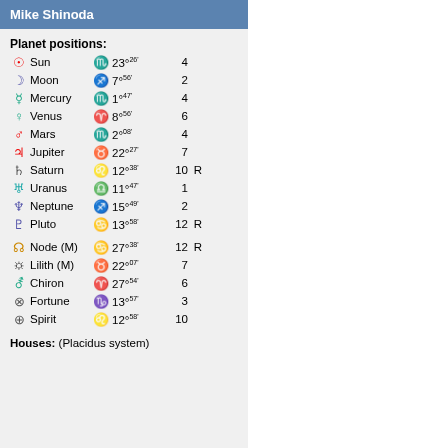Mike Shinoda
Planet positions:
| Symbol | Planet | Sign | Degree | House | R |
| --- | --- | --- | --- | --- | --- |
| ☉ | Sun | ♒ | 23°26' | 4 |  |
| ☽ | Moon | ♐ | 7°56' | 2 |  |
| ☿ | Mercury | ♒ | 1°47' | 4 |  |
| ♀ | Venus | ♈ | 8°56' | 6 |  |
| ♂ | Mars | ♒ | 2°08' | 4 |  |
| ♃ | Jupiter | ♉ | 22°27' | 7 |  |
| ♄ | Saturn | ♌ | 12°38' | 10 | R |
| ♅ | Uranus | ♏ | 11°47' | 1 |  |
| ♆ | Neptune | ♐ | 15°49' | 2 |  |
| ♇ | Pluto | ♎ | 13°58' | 12 | R |
| ☊ | Node (M) | ♎ | 27°38' | 12 | R |
| ⚸ | Lilith (M) | ♉ | 22°07' | 7 |  |
| ⚷ | Chiron | ♈ | 27°54' | 6 |  |
| ⊗ | Fortune | ♑ | 13°57' | 3 |  |
| ⊕ | Spirit | ♌ | 12°58' | 10 |  |
Houses: (Placidus system)